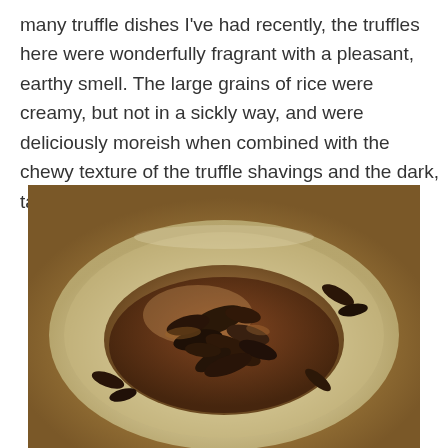many truffle dishes I've had recently, the truffles here were wonderfully fragrant with a pleasant, earthy smell. The large grains of rice were creamy, but not in a sickly way, and were deliciously moreish when combined with the chewy texture of the truffle shavings and the dark, tangy gravy.
[Figure (photo): A bowl of creamy risotto topped with generous dark truffle shavings and dark tangy gravy, photographed from above in warm restaurant lighting.]